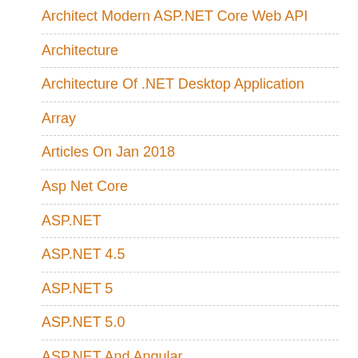Architect Modern ASP.NET Core Web API
Architecture
Architecture Of .NET Desktop Application
Array
Articles On Jan 2018
Asp Net Core
ASP.NET
ASP.NET 4.5
ASP.NET 5
ASP.NET 5.0
ASP.NET And Angular
ASP.NET AppSettings Element
ASP.NET Blog
ASP.NET Boilerplate
Asp.Net Core
ASP.NET Core + JavaScript